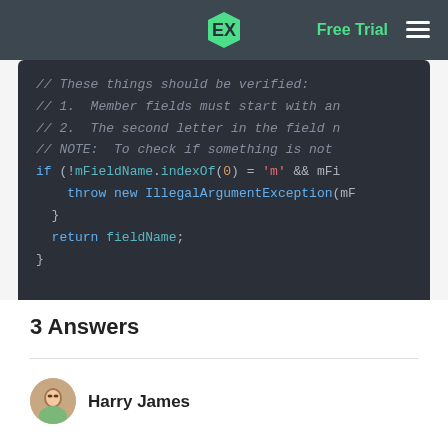Free Trial
[Figure (screenshot): Code editor showing Java code snippet with comments about verifying member fields, an if statement checking mFieldName.indexOf(0) = 'm', a throw new IllegalArgumentException, and a return fieldName statement, all inside closing braces]
3 Answers
Harry James